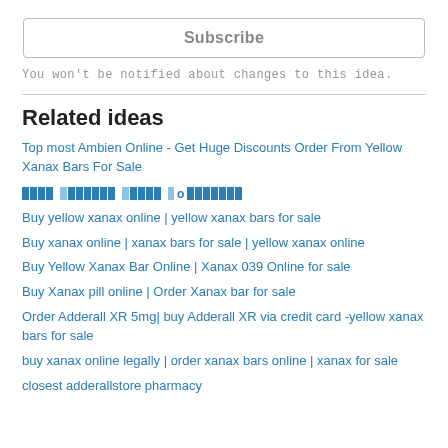Subscribe
You won't be notified about changes to this idea.
Related ideas
Top most Ambien Online - Get Huge Discounts Order From Yellow Xanax Bars For Sale
[Figure (other): Pixelated/censored blue bar row]
Buy yellow xanax online | yellow xanax bars for sale
Buy xanax online | xanax bars for sale | yellow xanax online
Buy Yellow Xanax Bar Online | Xanax 039 Online for sale
Buy Xanax pill online | Order Xanax bar for sale
Order Adderall XR 5mg| buy Adderall XR via credit card -yellow xanax bars for sale
buy xanax online legally | order xanax bars online | xanax for sale
closest adderallstore pharmacy